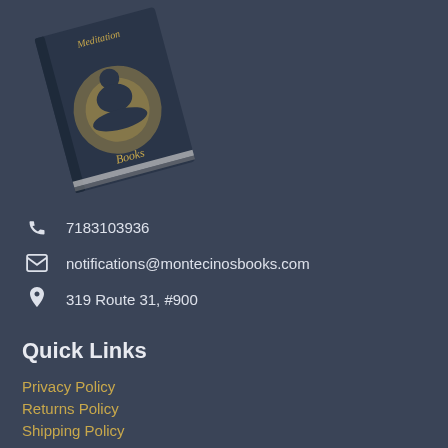[Figure (illustration): A book cover showing a meditation figure in lotus position with a golden glow, titled 'Meditation Books' in decorative script, shown at an angle]
7183103936
notifications@montecinosbooks.com
319 Route 31, #900
Quick Links
Privacy Policy
Returns Policy
Shipping Policy